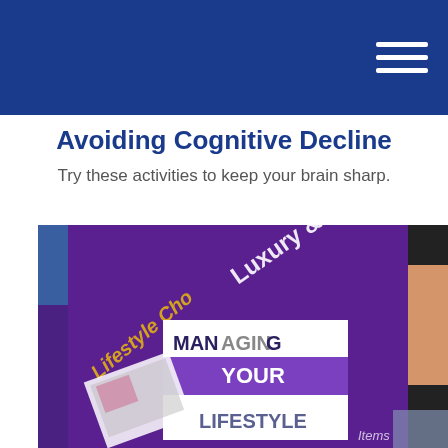Avoiding Cognitive Decline
Try these activities to keep your brain sharp.
[Figure (photo): A person holding a tablet displaying a purple screen with text 'Luxury & Leisure', 'Lifestyle Cho...', and a white overlay box with the words MANAGING YOUR LIFESTYLE in bold letters.]